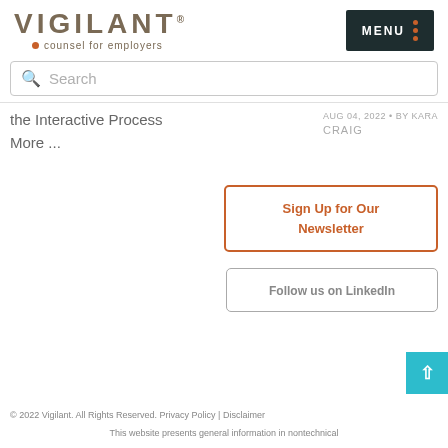[Figure (logo): Vigilant logo with tagline 'counsel for employers' and MENU button]
Search
the Interactive Process
AUG 04, 2022 • BY KARA
More ...
CRAIG
Sign Up for Our Newsletter
Follow us on LinkedIn
© 2022 Vigilant. All Rights Reserved. Privacy Policy | Disclaimer
This website presents general information in nontechnical